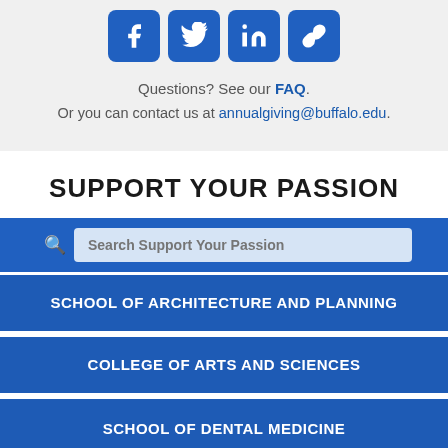[Figure (other): Four social media icon buttons (Facebook, Twitter, LinkedIn, and a link/chain icon) displayed as blue rounded square buttons]
Questions? See our FAQ. Or you can contact us at annualgiving@buffalo.edu.
SUPPORT YOUR PASSION
Search Support Your Passion
SCHOOL OF ARCHITECTURE AND PLANNING
COLLEGE OF ARTS AND SCIENCES
SCHOOL OF DENTAL MEDICINE